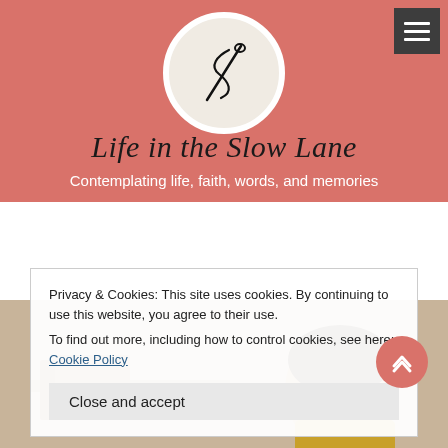[Figure (logo): Circular logo with a needle and thread forming an 'S' shape on a beige background with white border, on a salmon/coral colored header background]
Life in the Slow Lane
Contemplating life, faith, words, and memories
Privacy & Cookies: This site uses cookies. By continuing to use this website, you agree to their use.
To find out more, including how to control cookies, see here: Cookie Policy
Close and accept